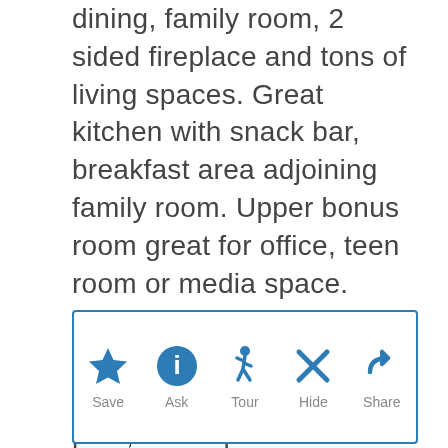dining, family room, 2 sided fireplace and tons of living spaces. Great kitchen with snack bar, breakfast area adjoining family room. Upper bonus room great for office, teen room or media space. Outdoors has plentiful covered patio space, outdoor BBQ, expansive pool, roof top deck and plenty of green space for activities. Backyard is line with mature orange trees. Great central location.
[Figure (infographic): Action bar with 5 buttons: Save (star icon), Ask (info icon), Tour (walking person icon), Hide (X icon), Share (reply/forward arrow icon). Each button has an icon in blue above a gray label.]